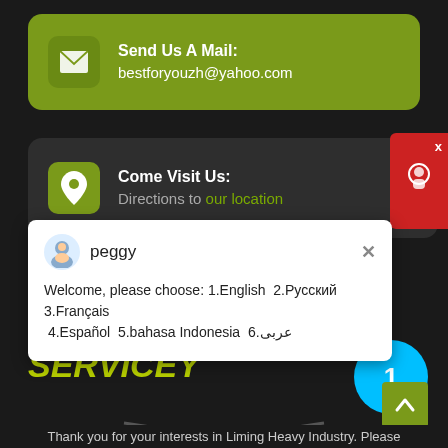Send Us A Mail: bestforyouzh@yahoo.com
Come Visit Us: Directions to our location
[Figure (screenshot): Live chat popup with avatar labeled 'peggy'. Message reads: Welcome, please choose: 1.English 2.Русский 3.Français 4.Español 5.bahasa Indonesia 6.عربى]
SERVICEY
Thank you for your interests in Liming Heavy Industry. Please